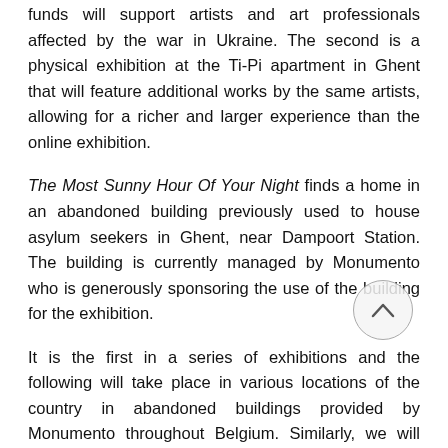funds will support artists and art professionals affected by the war in Ukraine. The second is a physical exhibition at the Ti-Pi apartment in Ghent that will feature additional works by the same artists, allowing for a richer and larger experience than the online exhibition.
The Most Sunny Hour Of Your Night finds a home in an abandoned building previously used to house asylum seekers in Ghent, near Dampoort Station. The building is currently managed by Monumento who is generously sponsoring the use of the building for the exhibition.
It is the first in a series of exhibitions and the following will take place in various locations of the country in abandoned buildings provided by Monumento throughout Belgium. Similarly, we will host artists-in-residence in these buildings.